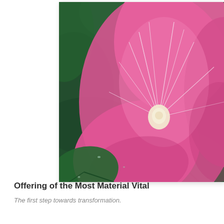[Figure (photo): Close-up photograph of a large pink hibiscus or hollyhock flower with white stamens at center, surrounded by dark green leaves. The flower fills most of the right side of the image frame.]
Offering of the Most Material Vital
The first step towards transformation.